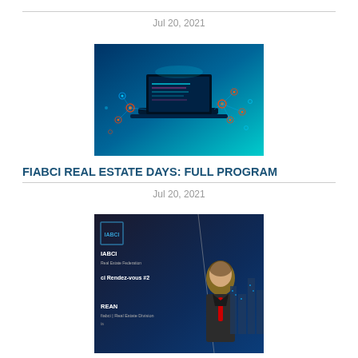Jul 20, 2021
[Figure (photo): Digital technology concept image showing a laptop with holographic UI elements and glowing network nodes on a blue background]
FIABCI REAL ESTATE DAYS: FULL PROGRAM
Jul 20, 2021
[Figure (photo): Photo of a man in a suit at a FIABCI Rendez-vous #2 event presentation with text showing REAN, Real Estate Division on a dark blue background with city skyline]